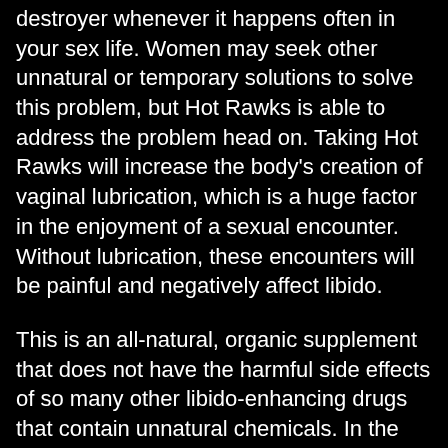destroyer whenever it happens often in your sex life. Women may seek other unnatural or temporary solutions to solve this problem, but Hot Rawks is able to address the problem head on. Taking Hot Rawks will increase the body's creation of vaginal lubrication, which is a huge factor in the enjoyment of a sexual encounter. Without lubrication, these encounters will be painful and negatively affect libido.
This is an all-natural, organic supplement that does not have the harmful side effects of so many other libido-enhancing drugs that contain unnatural chemicals. In the pursuit of a healthy sex life, women do not want to ingest anything into their bodies that might have serious repercussions. The side effects you get with Hot Rawks are actually another advantage to women. There are other ways that women's libido's will be enhanced with Hot Rawks. Women's hormonal life functions...